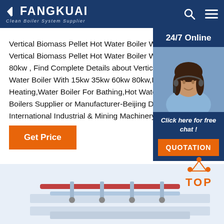FANGKUAI Clean Boiler System Supplier
Vertical Biomass Pellet Hot Water Boiler With 15kw 35kw 60kw 80kw , Find Complete Details about Vertical Biomass Pellet Hot Water Boiler With 15kw 35kw 60kw 80kw,Hot Water Boiler For Heating,Water Boiler For Bathing,Hot Water Boiler from Boilers Supplier or Manufacturer-Beijing Double International Industrial & Mining Machinery Co.
[Figure (screenshot): Customer service representative with headset, 24/7 Online chat widget with QUOTATION button]
[Figure (other): Get Price orange button]
[Figure (photo): Industrial boiler pipe equipment photo at the bottom of the page]
[Figure (other): TOP navigation badge with orange dots triangle icon]